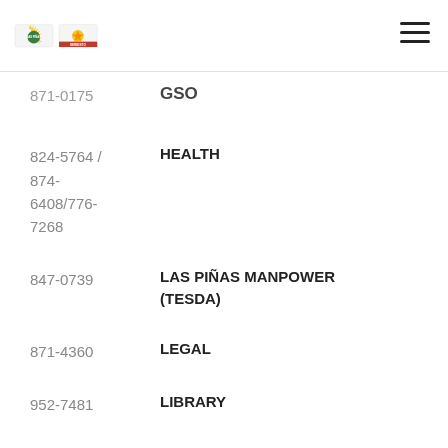Las Piñas City Government logo and navigation header
871-0175 | GSO
824-5764 / 874-6408/776-7268 | HEALTH
847-0739 | LAS PIÑAS MANPOWER (TESDA)
871-4360 | LEGAL
952-7481 | LIBRARY